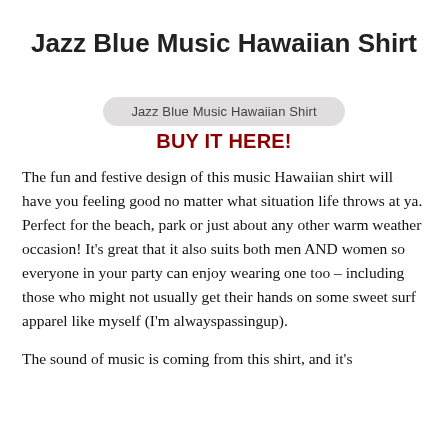Jazz Blue Music Hawaiian Shirt
[Figure (other): Rounded pill/badge label reading 'Jazz Blue Music Hawaiian Shirt']
BUY IT HERE!
The fun and festive design of this music Hawaiian shirt will have you feeling good no matter what situation life throws at ya. Perfect for the beach, park or just about any other warm weather occasion! It's great that it also suits both men AND women so everyone in your party can enjoy wearing one too – including those who might not usually get their hands on some sweet surf apparel like myself (I'm alwayspassingup).
The sound of music is coming from this shirt, and it's